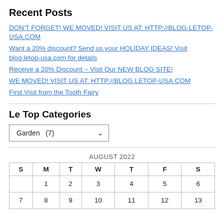Recent Posts
DON'T FORGET! WE MOVED! VISIT US AT: HTTP://BLOG.LETOP-USA.COM
Want a 20% discount? Send us your HOLIDAY IDEAS! Visit blog.letop-usa.com for details
Receive a 20% Discount – Visit Our NEW BLOG SITE!
WE MOVED! VISIT US AT: HTTP://BLOG.LETOP-USA.COM
First Visit from the Tooth Fairy
Le Top Categories
Garden  (7)
| S | M | T | W | T | F | S |
| --- | --- | --- | --- | --- | --- | --- |
|  | 1 | 2 | 3 | 4 | 5 | 6 |
| 7 | 8 | 9 | 10 | 11 | 12 | 13 |